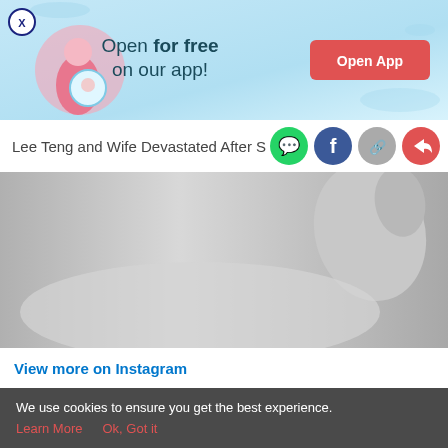[Figure (screenshot): App advertisement banner with light blue background showing a pregnant woman illustration and text 'Open for free on our app!' with a red 'Open App' button]
Lee Teng and Wife Devastated After S
[Figure (photo): Black and white close-up photo, appears to show hands or a body part]
View more on Instagram
[Figure (screenshot): Bottom navigation bar with Tools, Articles, home (pregnant woman icon in pink circle), Feed, and Poll icons]
We use cookies to ensure you get the best experience. Learn More  Ok, Got it